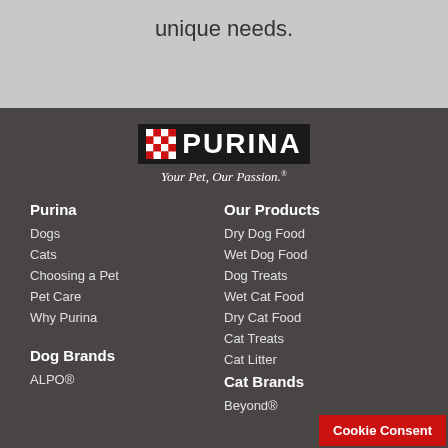unique needs.
[Figure (logo): Purina logo with checkerboard red and white squares and 'PURINA' text in white on black background]
Your Pet, Our Passion.
Purina
Our Products
Dogs
Dry Dog Food
Cats
Wet Dog Food
Choosing a Pet
Dog Treats
Pet Care
Wet Cat Food
Why Purina
Dry Cat Food
Cat Treats
Cat Litter
Dog Brands
Cat Brands
ALPO®
Beyond®
Cookie Consent